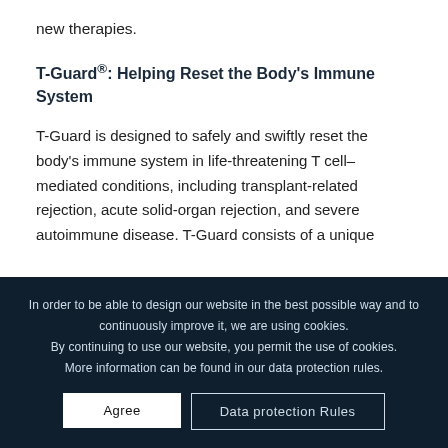new therapies.
T-Guard®: Helping Reset the Body's Immune System
T-Guard is designed to safely and swiftly reset the body's immune system in life-threatening T cell–mediated conditions, including transplant-related rejection, acute solid-organ rejection, and severe autoimmune disease. T-Guard consists of a unique
In order to be able to design our website in the best possible way and to continuously improve it, we are using cookies.
By continuing to use our website, you permit the use of cookies.
More information can be found in our data protection rules.
Agree
Data protection Rules